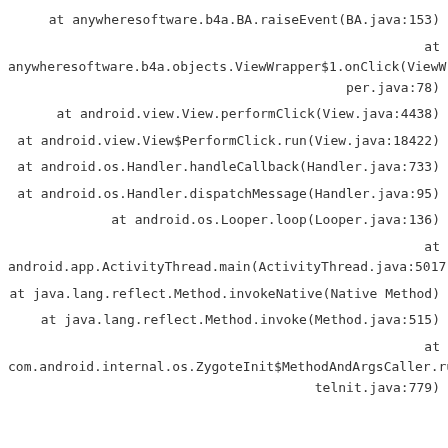at anywheresoftware.b4a.BA.raiseEvent(BA.java:153)
at anywheresoftware.b4a.objects.ViewWrapper$1.onClick(ViewWrapper.java:78)
at android.view.View.performClick(View.java:4438)
at android.view.View$PerformClick.run(View.java:18422)
at android.os.Handler.handleCallback(Handler.java:733)
at android.os.Handler.dispatchMessage(Handler.java:95)
at android.os.Looper.loop(Looper.java:136)
at android.app.ActivityThread.main(ActivityThread.java:5017)
at java.lang.reflect.Method.invokeNative(Native Method)
at java.lang.reflect.Method.invoke(Method.java:515)
at com.android.internal.os.ZygoteInit$MethodAndArgsCaller.run(ZygoteInit.java:779)